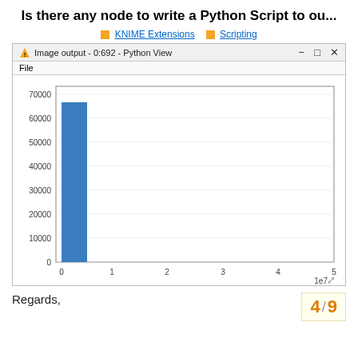Is there any node to write a Python Script to ou...
KNIME Extensions  Scripting
[Figure (bar-chart): Image output - 0:692 - Python View]
Regards,
4 / 9